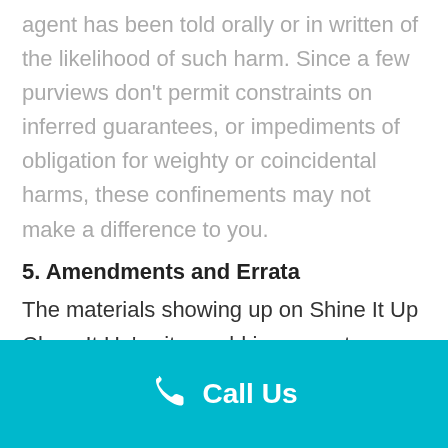agent has been told orally or in written of the likelihood of such harm. Since a few purviews don't permit constraints on inferred guarantees, or impediments of obligation for weighty or coincidental harms, these confinements may not make a difference to you.
5. Amendments and Errata
The materials showing up on Shine It Up Clean It Up's site could incorporate typographical, or photographic mistakes. Shine It Up Clean It Up does not warrant that any of the materials on its site are exact, finished,
Call Us